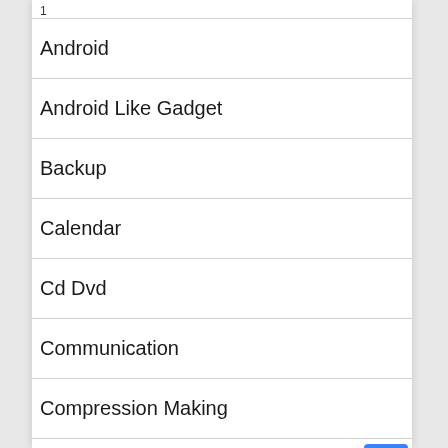1
Android
Android Like Gadget
Backup
Calendar
Cd Dvd
Communication
Compression Making
Design Graphic